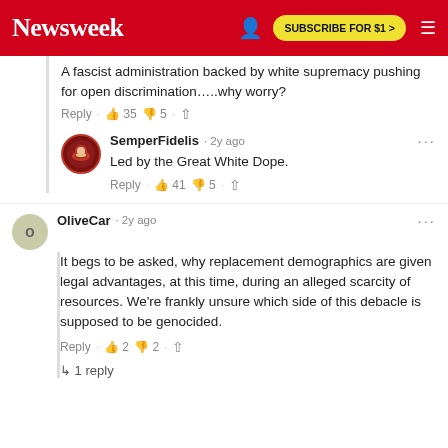Newsweek — SUBSCRIBE FOR $1 >
A fascist administration backed by white supremacy pushing for open discrimination…..why worry?
Reply · 👍 35 👎 5 · ↑
SemperFidelis · 2y ago
Led by the Great White Dope.
Reply · 👍 41 👎 5 · ↑
OliveCar · 2y ago
It begs to be asked, why replacement demographics are given legal advantages, at this time, during an alleged scarcity of resources. We're frankly unsure which side of this debacle is supposed to be genocided.
Reply · 👍 2 👎 2 · ↑
↳ 1 reply